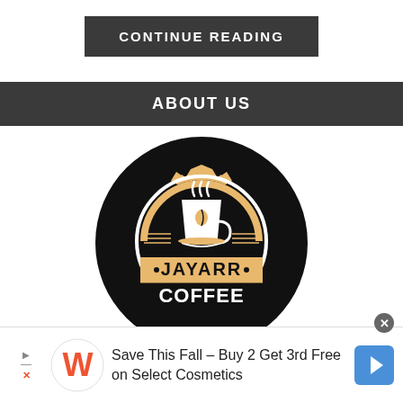CONTINUE READING
ABOUT US
[Figure (logo): Jayarr Coffee circular logo: black circle background with a gold sunburst/gear-shaped badge, a white coffee cup with steam, and text 'JAYARR COFFEE' in bold white and black lettering.]
Save This Fall - Buy 2 Get 3rd Free on Select Cosmetics